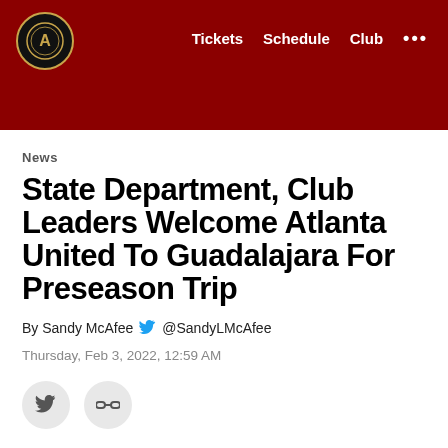Tickets  Schedule  Club  ...
News
State Department, Club Leaders Welcome Atlanta United To Guadalajara For Preseason Trip
By Sandy McAfee  @SandyLMcAfee
Thursday, Feb 3, 2022, 12:59 AM